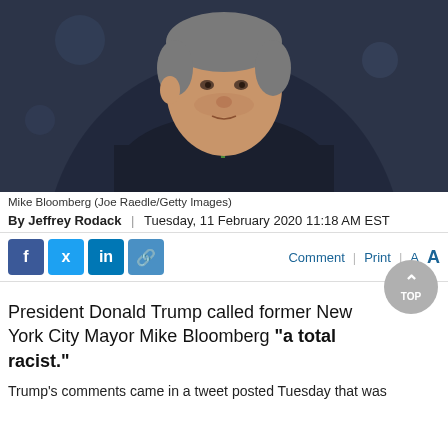[Figure (photo): Portrait photo of Mike Bloomberg, an older man in a dark suit with green tie and American flag lapel pin, looking upward, dark blurred background.]
Mike Bloomberg (Joe Raedle/Getty Images)
By Jeffrey Rodack  |  Tuesday, 11 February 2020 11:18 AM EST
[Figure (infographic): Social media sharing bar with Facebook, Twitter, LinkedIn, and link buttons on the left; Comment | Print | A A on the right in blue.]
President Donald Trump called former New York City Mayor Mike Bloomberg "a total racist."
Trump's comments came in a tweet posted Tuesday that was